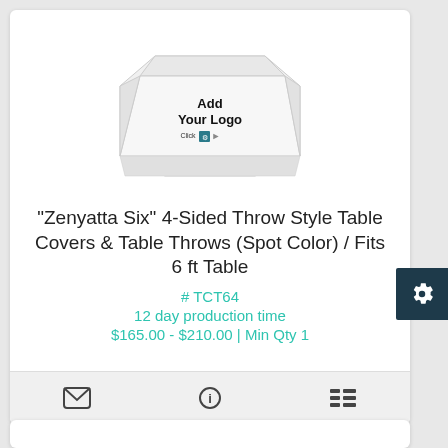[Figure (illustration): White 4-sided throw style table cover draped over a 6ft table, with text 'Add Your Logo' and 'Click [icon] [arrow]' printed on the front panel]
"Zenyatta Six" 4-Sided Throw Style Table Covers & Table Throws (Spot Color) / Fits 6 ft Table
# TCT64
12 day production time
$165.00 - $210.00 | Min Qty 1